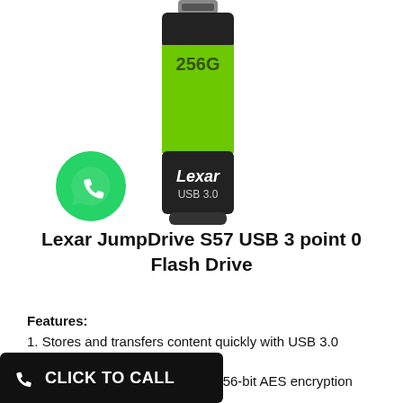[Figure (photo): Lexar JumpDrive S57 USB 3.0 flash drive with black body and green accent, showing '256G' label and 'Lexar USB 3.0' text on the drive. A WhatsApp icon (green circle with white phone handset) is visible in the lower left of the image area.]
Lexar JumpDrive S57 USB 3 point 0 Flash Drive
Features:
1. Stores and transfers content quickly with USB 3.0 technology
les using an advanced security 256-bit AES encryption
[Figure (other): CLICK TO CALL button — black rounded rectangle with white phone icon and white bold text 'CLICK TO CALL']